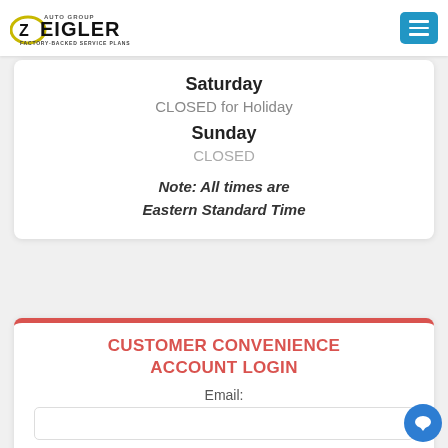Zeigler Auto Group — Factory-Backed Service Plans
Saturday
CLOSED for Holiday
Sunday
CLOSED
Note: All times are Eastern Standard Time
CUSTOMER CONVENIENCE ACCOUNT LOGIN
Email:
Password: